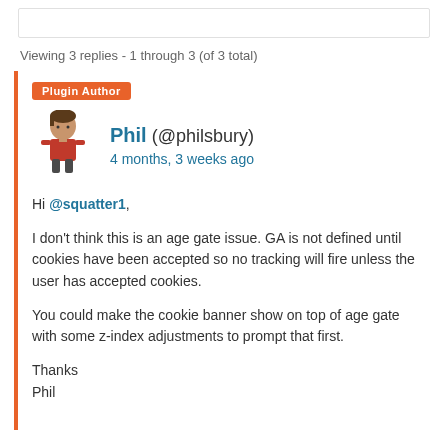Viewing 3 replies - 1 through 3 (of 3 total)
Plugin Author
Phil (@philsbury)
4 months, 3 weeks ago
Hi @squatter1,

I don't think this is an age gate issue. GA is not defined until cookies have been accepted so no tracking will fire unless the user has accepted cookies.

You could make the cookie banner show on top of age gate with some z-index adjustments to prompt that first.

Thanks
Phil